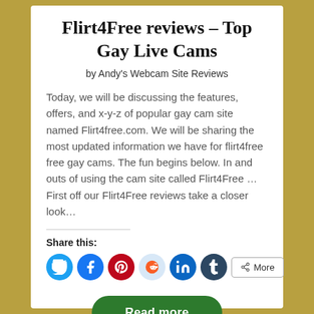Flirt4Free reviews – Top Gay Live Cams
by Andy's Webcam Site Reviews
Today, we will be discussing the features, offers, and x-y-z of popular gay cam site named Flirt4free.com. We will be sharing the most updated information we have for flirt4free free gay cams. The fun begins below. In and outs of using the cam site called Flirt4Free … First off our Flirt4Free reviews take a closer look…
Share this:
[Figure (infographic): Social share buttons: Twitter (blue circle), Facebook (blue circle), Pinterest (red circle), Reddit (light blue circle), LinkedIn (dark blue circle), Tumblr (dark navy circle), and a More button with share icon]
Read more